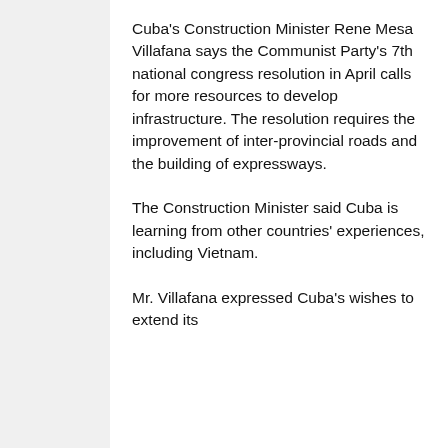Cuba's Construction Minister Rene Mesa Villafana says the Communist Party's 7th national congress resolution in April calls for more resources to develop infrastructure. The resolution requires the improvement of inter-provincial roads and the building of expressways.
The Construction Minister said Cuba is learning from other countries' experiences, including Vietnam.
Mr. Villafana expressed Cuba's wishes to extend its